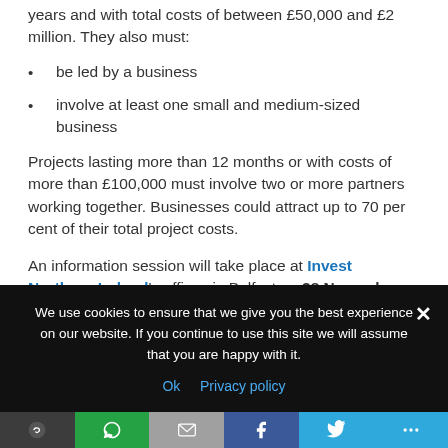years and with total costs of between £50,000 and £2 million. They also must:
be led by a business
involve at least one small and medium-sized business
Projects lasting more than 12 months or with costs of more than £100,000 must involve two or more partners working together. Businesses could attract up to 70 per cent of their total project costs.
An information session will take place at Invest Northern Ireland's offices in Belfast on 28 November 2016 to highlight opportunities for local business. Register here to attend.
We use cookies to ensure that we give you the best experience on our website. If you continue to use this site we will assume that you are happy with it.
Ok  Privacy policy